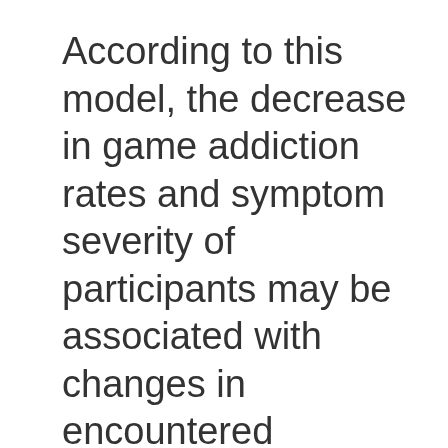According to this model, the decrease in game addiction rates and symptom severity of participants may be associated with changes in encountered addiction objects in their lives within two year interval.
On the other hand, this decline may also be explained partially with